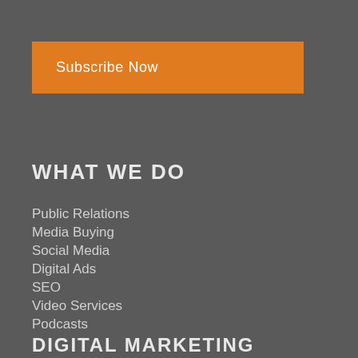Subscribe Now
WHAT WE DO
Public Relations
Media Buying
Social Media
Digital Ads
SEO
Video Services
Podcasts
DIGITAL MARKETING
Law Firm Marketing
Retail Marketing